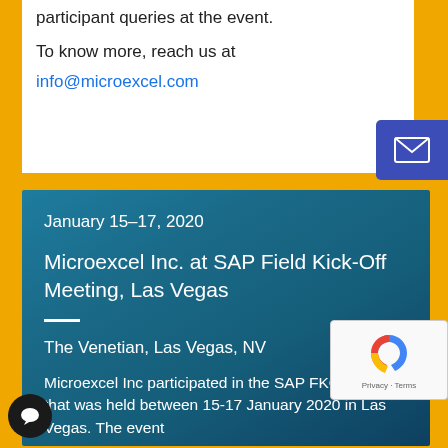participant queries at the event.
To know more, reach us at info@microexcel.com
January 15–17, 2020
Microexcel Inc. at SAP Field Kick-Off Meeting, Las Vegas
The Venetian, Las Vegas, NV
Microexcel Inc participated in the SAP FKOM event that was held between 15-17 January 2020 in Las Vegas. The event